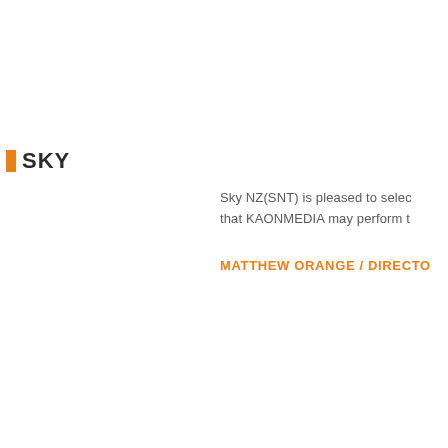SKY
Sky NZ(SNT) is pleased to selec that KAONMEDIA may perform t
MATTHEW ORANGE / DIRECTO